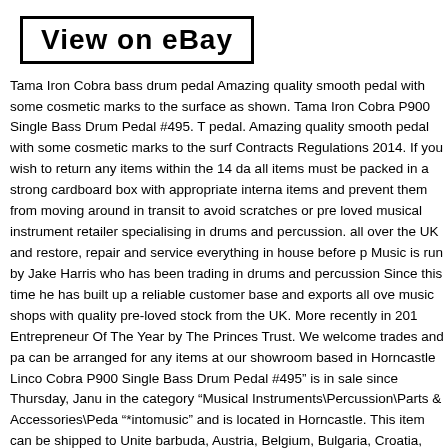[Figure (other): Button/link styled box with text 'View on eBay']
Tama Iron Cobra bass drum pedal Amazing quality smooth pedal with some cosmetic marks to the surface as shown. Tama Iron Cobra P900 Single Bass Drum Pedal #495. T... pedal. Amazing quality smooth pedal with some cosmetic marks to the surf... Contracts Regulations 2014. If you wish to return any items within the 14 da... all items must be packed in a strong cardboard box with appropriate interna... items and prevent them from moving around in transit to avoid scratches or... pre loved musical instrument retailer specialising in drums and percussion. all over the UK and restore, repair and service everything in house before p... Music is run by Jake Harris who has been trading in drums and percussion... Since this time he has built up a reliable customer base and exports all ove... music shops with quality pre-loved stock from the UK. More recently in 201... Entrepreneur Of The Year by The Princes Trust. We welcome trades and pa... can be arranged for any items at our showroom based in Horncastle Linco... Cobra P900 Single Bass Drum Pedal #495" is in sale since Thursday, Janu... in the category "Musical Instruments\Percussion\Parts & Accessories\Peda... "*intomusic" and is located in Horncastle. This item can be shipped to Unite... barbuda, Austria, Belgium, Bulgaria, Croatia, Cyprus, Czech republic, Denn... France, Germany, Greece, Hungary, Ireland, Italy, Latvia, Lithuania, Luxem... Poland, Portugal, Romania, Slovakia, Slovenia, Spain, Sweden, Australia, l... Canada, Japan, New Zealand, China, Israel, Hong Kong, Norway, Indonesi... Singapore, South Korea, Switzerland, Taiwan, Thailand, Bangladesh, Beliz... Barbados, Brunei darussalam, Cayman islands, Dominica, Egypt, Guernse...